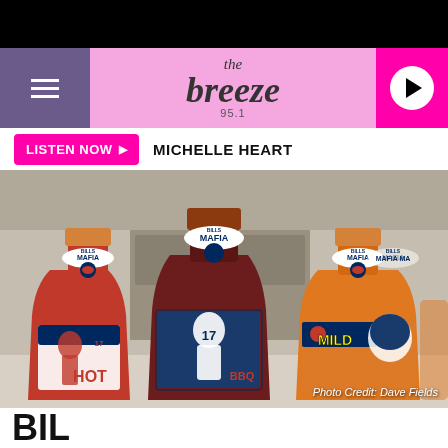the breeze 95.1
LISTEN NOW ▶  MICHELLE HEART
[Figure (photo): Three Bills Mafia branded sauce bottles (HOT, BBQ, MILD) with Buffalo Bills #17 player imagery on the labels. Photo Credit: Dave Fields.]
Photo Credit: Dave Fields
BIL